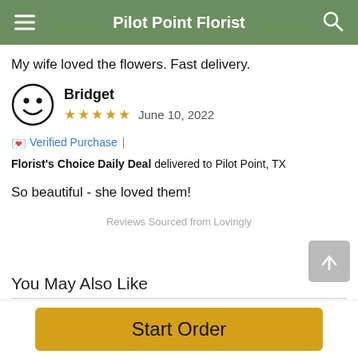Pilot Point Florist
My wife loved the flowers. Fast delivery.
Bridget
★★★★★ June 10, 2022
💌 Verified Purchase | Florist's Choice Daily Deal delivered to Pilot Point, TX
So beautiful - she loved them!
Reviews Sourced from Lovingly
You May Also Like
Start Order